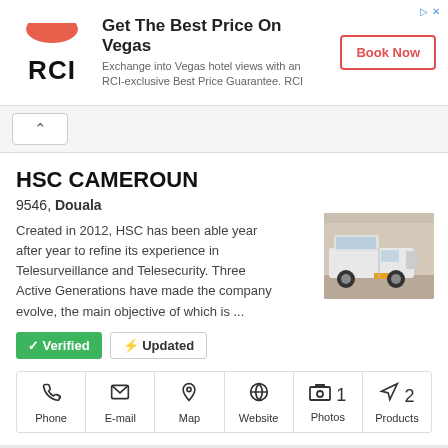[Figure (infographic): RCI advertisement banner: RCI logo with half-circle coral icon, text 'Get The Best Price On Vegas', 'Exchange into Vegas hotel views with an RCI-exclusive Best Price Guarantee. RCI', and a 'Book Now' button]
[Figure (other): Collapse/up-arrow toggle button]
HSC CAMEROUN
9546, Douala
Created in 2012, HSC has been able year after year to refine its experience in Telesurveillance and Telesecurity. Three Active Generations have made the company evolve, the main objective of which is ...
[Figure (photo): Photo of a white vehicle/truck parked outside a building]
✓ Verified   ⚡ Updated
Phone | E-mail | Map | Website | Photos 1 | Products 2
PROTEC SECURITY
PO BOX 313, Yaounde